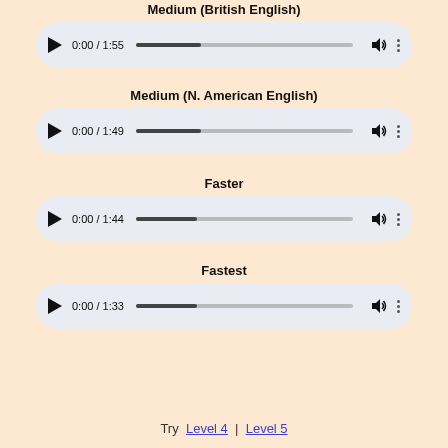Medium (British English)
[Figure (screenshot): Audio player showing 0:00 / 1:55 with progress bar, volume icon, and menu dots]
Medium (N. American English)
[Figure (screenshot): Audio player showing 0:00 / 1:49 with progress bar, volume icon, and menu dots]
Faster
[Figure (screenshot): Audio player showing 0:00 / 1:44 with progress bar, volume icon, and menu dots]
Fastest
[Figure (screenshot): Audio player showing 0:00 / 1:33 with progress bar, volume icon, and menu dots]
Try  Level 4  |  Level 5